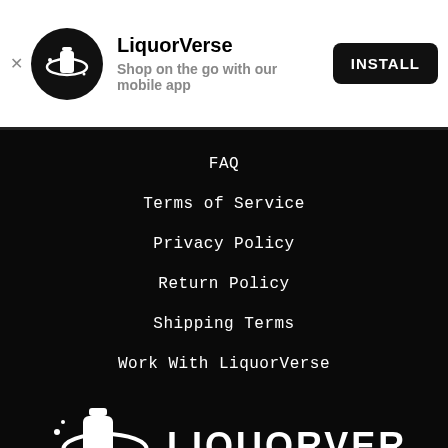[Figure (logo): LiquorVerse app banner with circular black logo icon containing bottle and orbit ring graphic]
LiquorVerse
Shop on the go with our mobile app
INSTALL
FAQ
Terms of Service
Privacy Policy
Return Policy
Shipping Terms
Work With LiquorVerse
[Figure (logo): LiquorVerse logo: white bottle with orbit ring graphic, text LIQUORVERSE CLICK, SHIP, DRINK! in white on black background]